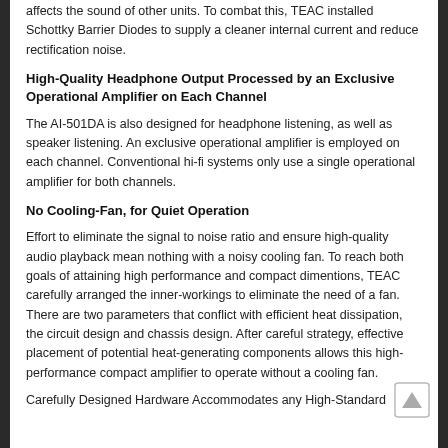affects the sound of other units. To combat this, TEAC installed Schottky Barrier Diodes to supply a cleaner internal current and reduce rectification noise.
High-Quality Headphone Output Processed by an Exclusive Operational Amplifier on Each Channel
The AI-501DA is also designed for headphone listening, as well as speaker listening. An exclusive operational amplifier is employed on each channel. Conventional hi-fi systems only use a single operational amplifier for both channels.
No Cooling-Fan, for Quiet Operation
Effort to eliminate the signal to noise ratio and ensure high-quality audio playback mean nothing with a noisy cooling fan. To reach both goals of attaining high performance and compact dimentions, TEAC carefully arranged the inner-workings to eliminate the need of a fan. There are two parameters that conflict with efficient heat dissipation, the circuit design and chassis design. After careful strategy, effective placement of potential heat-generating components allows this high-performance compact amplifier to operate without a cooling fan.
Carefully Designed Hardware Accommodates any High-Standard